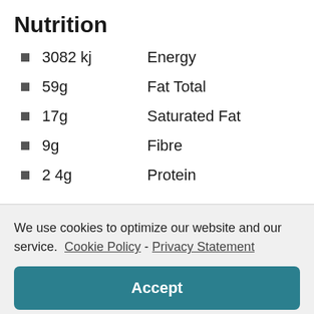Nutrition
3082 kj   Energy
59g   Fat Total
17g   Saturated Fat
9g   Fibre
2 4g   Protein
We use cookies to optimize our website and our service.  Cookie Policy - Privacy Statement
Accept
All nutrition values are per serve